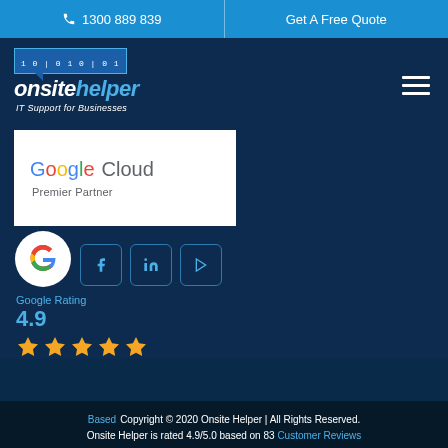1300 889 839  |  Get A Free Quote
[Figure (logo): Onsite Helper logo with binary code graphic and text 'IT Support for Businesses']
[Figure (logo): Google Cloud Premier Partner logo on white background]
[Figure (logo): Google G rainbow logo overlapping social media icons (Facebook, LinkedIn, YouTube)]
Google Rating
4.9
[Figure (infographic): Five orange stars representing 4.9 rating]
Copyright © 2020 Onsite Helper | All Rights Reserved. Onsite Helper is rated 4.9/5.0 based on 83 Customer Reviews